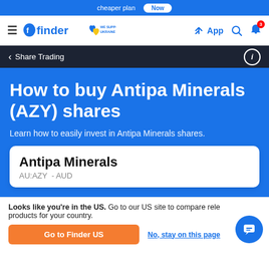cheaper plan | Now
finder WE SUPPORT UKRAINE | App
< Share Trading
How to buy Antipa Minerals (AZY) shares
Learn how to easily invest in Antipa Minerals shares.
Antipa Minerals
AU:AZY - AUD
Looks like you're in the US. Go to our US site to compare rele products for your country.
Go to Finder US
No, stay on this page